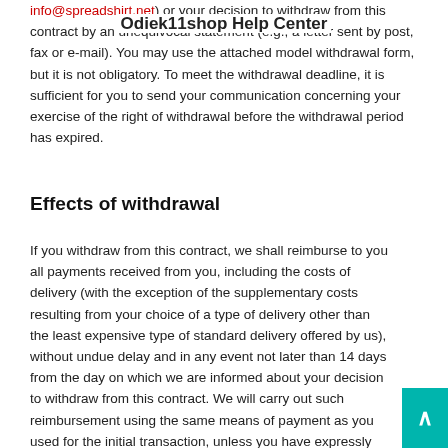Odiek11shop Help Center
info@spreadshirt.net) or your decision to withdraw from this contract by an unequivocal statement (e.g., a letter sent by post, fax or e-mail). You may use the attached model withdrawal form, but it is not obligatory. To meet the withdrawal deadline, it is sufficient for you to send your communication concerning your exercise of the right of withdrawal before the withdrawal period has expired.
Effects of withdrawal
If you withdraw from this contract, we shall reimburse to you all payments received from you, including the costs of delivery (with the exception of the supplementary costs resulting from your choice of a type of delivery other than the least expensive type of standard delivery offered by us), without undue delay and in any event not later than 14 days from the day on which we are informed about your decision to withdraw from this contract. We will carry out such reimbursement using the same means of payment as you used for the initial transaction, unless you have expressly agreed otherwise; in any event, you will not incur any fees as a result of such reimbursement.